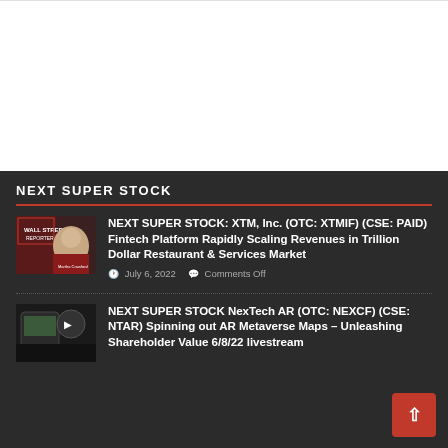[Figure (other): White advertisement/banner space at top of page]
NEXT SUPER STOCK
NEXT SUPER STOCK: XTM, Inc. (OTC: XTMIF) (CSE: PAID) Fintech Platform Rapidly Scaling Revenues in Trillion Dollar Restaurant & Services Market
July 6, 2022   Comments Off
NEXT SUPER STOCK NexTech AR (OTC: NEXCF) (CSE: NTAR) Spinning out AR Metaverse Maps – Unleashing Shareholder Value 6/8/22 livestream